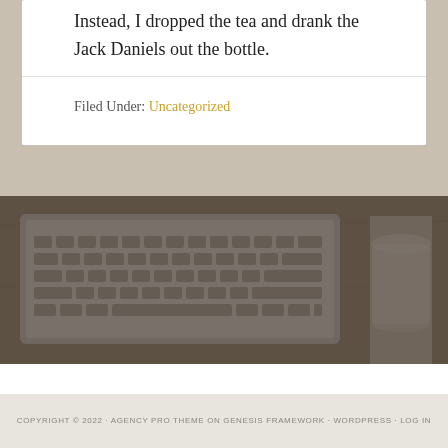Instead, I dropped the tea and drank the Jack Daniels out the bottle.
Filed Under: Uncategorized
[Figure (photo): Background photo of a laptop keyboard on a wooden desk, with a coffee cup partially visible on the right side, overlaid with a dark semi-transparent filter.]
LBK (logo with colored squares)
COPYRIGHT © 2022 · AGENCY PRO THEME ON GENESIS FRAMEWORK · WORDPRESS · LOG IN